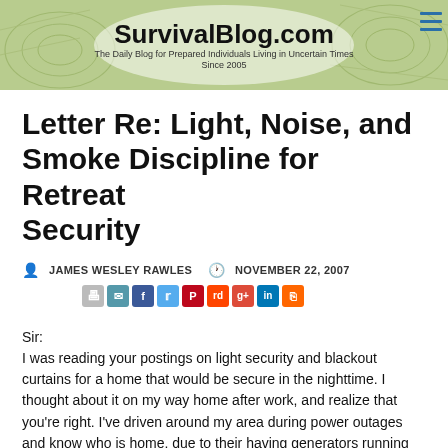[Figure (illustration): SurvivalBlog.com website banner with topographic map background, site title and tagline centered, hamburger menu icon top right]
Letter Re: Light, Noise, and Smoke Discipline for Retreat Security
JAMES WESLEY RAWLES   NOVEMBER 22, 2007
[Figure (other): Social sharing icons row: print, email, Facebook, Twitter, Pinterest, Reddit, Google+, LinkedIn, RSS]
Sir:
I was reading your postings on light security and blackout curtains for a home that would be secure in the nighttime. I thought about it on my way home after work, and realize that you're right. I've driven around my area during power outages and know who is home, due to their having generators running and lights shining, or even just those using candles or lanterns of various types. As I was pondering